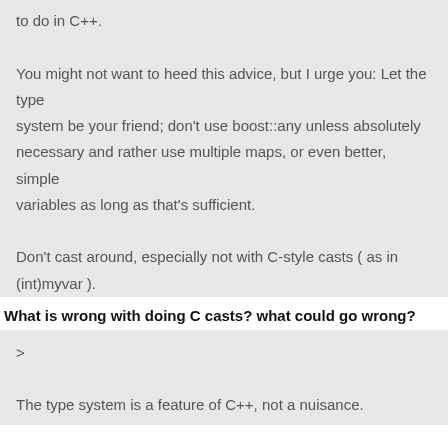to do in C++.
You might not want to heed this advice, but I urge you: Let the type system be your friend; don't use boost::any unless absolutely necessary and rather use multiple maps, or even better, simple variables as long as that's sufficient.
Don't cast around, especially not with C-style casts ( as in (int)myvar ).
What is wrong with doing C casts? what could go wrong?
>
The type system is a feature of C++, not a nuisance.